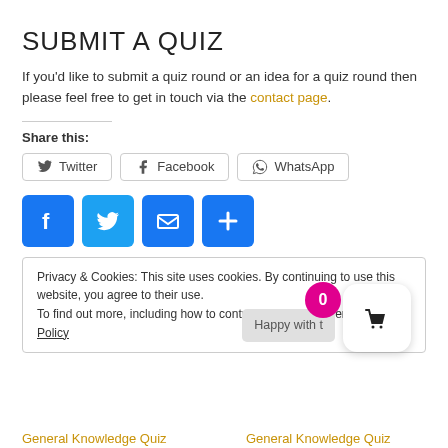SUBMIT A QUIZ
If you'd like to submit a quiz round or an idea for a quiz round then please feel free to get in touch via the contact page.
Share this:
[Figure (other): Social share buttons: Twitter, Facebook, WhatsApp]
[Figure (other): Social icon buttons: Facebook (blue F), Twitter (blue bird), Email (blue envelope), Share (blue plus)]
Privacy & Cookies: This site uses cookies. By continuing to use this website, you agree to their use.
To find out more, including how to control cookies, see here: Cookie Policy
Happy with t
General Knowledge Quiz    General Knowledge Quiz